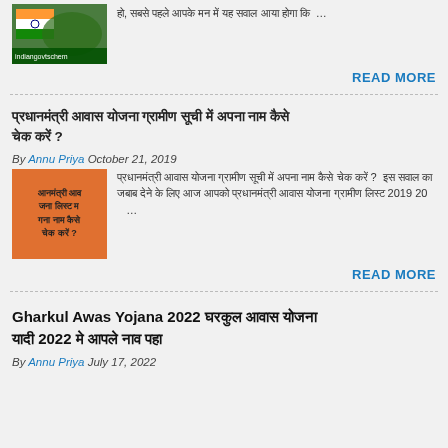[Figure (photo): Thumbnail image with Indian flag and green background labeled indiangovtschem]
हो, सबसे पहले आपके मन में यह सवाल आया होगा कि …
READ MORE
प्रधानमंत्री आवास योजना ग्रामीण सूची में अपना नाम कैसे चेक करें ?
By Annu Priya October 21, 2019
[Figure (photo): Orange thumbnail with Hindi text: आनमंत्री आव जना लिस्ट म गना नाम कैसे चेक करें ?]
प्रधानमंत्री आवास योजना ग्रामीण सूची में अपना नाम कैसे चेक करें ?  इस सवाल का जबाब देने के लिए आज आपको प्रधानमंत्री आवास योजना ग्रामीण लिस्ट 2019 20 …
READ MORE
Gharkul Awas Yojana 2022 घरकुल आवास योजना यादी 2022 मे आपले नाव पहा
By Annu Priya July 17, 2022